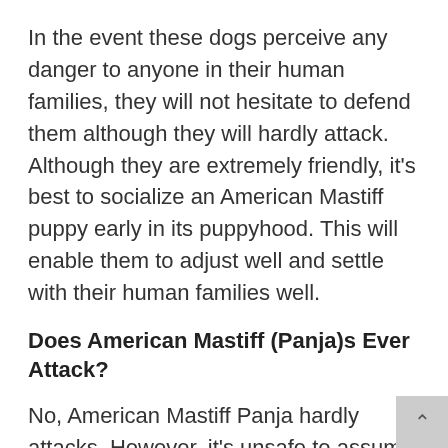In the event these dogs perceive any danger to anyone in their human families, they will not hesitate to defend them although they will hardly attack. Although they are extremely friendly, it's best to socialize an American Mastiff puppy early in its puppyhood. This will enable them to adjust well and settle with their human families well.
Does American Mastiff (Panja)s Ever Attack?
No, American Mastiff Panja hardly attacks. However, it's unsafe to assume that all American Mastiff Panja will behave in a gentle manner. This will depend on how the Panja is raised. If the dog is well socialized from an early